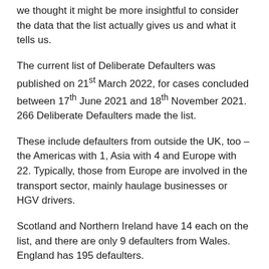we thought it might be more insightful to consider the data that the list actually gives us and what it tells us.
The current list of Deliberate Defaulters was published on 21st March 2022, for cases concluded between 17th June 2021 and 18th November 2021. 266 Deliberate Defaulters made the list.
These include defaulters from outside the UK, too – the Americas with 1, Asia with 4 and Europe with 22. Typically, those from Europe are involved in the transport sector, mainly haulage businesses or HGV drivers.
Scotland and Northern Ireland have 14 each on the list, and there are only 9 defaulters from Wales. England has 195 defaulters.
The English breakdown ranks regions by purely numbers and is published by reference to the tax/duty assessed: